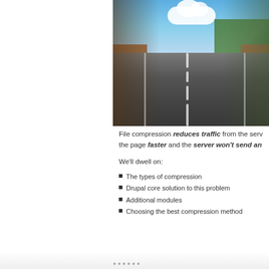[Figure (photo): Motion-blurred photo of a straight road vanishing into the horizon, with blue sky, clouds, mountains, trees on the right, and dirt shoulders on both sides — conveying high speed.]
File compression reduces traffic from the server making the page faster and the server won't send an
We'll dwell on:
The types of compression
Drupal core solution to this problem
Additional modules
Choosing the best compression method